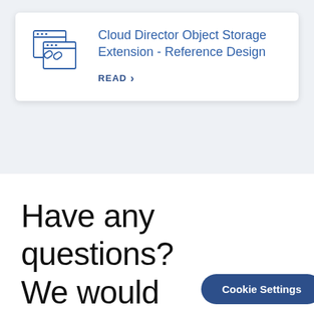[Figure (illustration): Blue outline icon of overlapping browser/document windows with a chain link symbol]
Cloud Director Object Storage Extension - Reference Design
READ >
Have any questions? We would
Cookie Settings